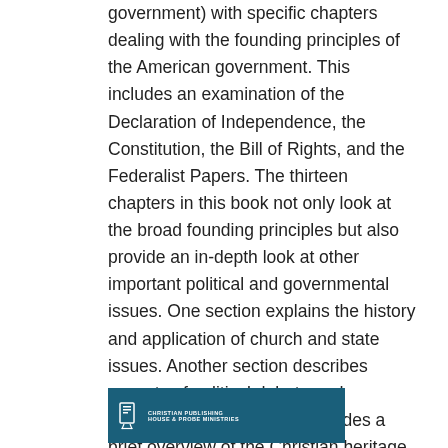government) with specific chapters dealing with the founding principles of the American government. This includes an examination of the Declaration of Independence, the Constitution, the Bill of Rights, and the Federalist Papers. The thirteen chapters in this book not only look at the broad founding principles but also provide an in-depth look at other important political and governmental issues. One section explains the history and application of church and state issues. Another section describes aspects of political debate and discourse. A final section provides a brief overview of the Christian heritage of this nation that was important in the founding of this country and the framing of our founding documents.
[Figure (logo): Christian Publishing House & Probe Ministries logo on a teal/dark blue background with a book icon]